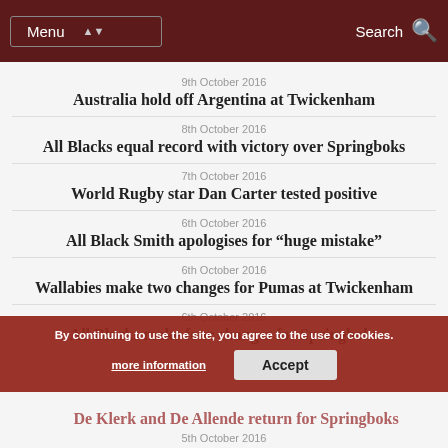Menu | Search
9th October 2016 — Australia hold off Argentina at Twickenham
8th October 2016 — All Blacks equal record with victory over Springboks
7th October 2016 — World Rugby star Dan Carter tested positive
6th October 2016 — All Black Smith apologises for "huge mistake"
6th October 2016 — Wallabies make two changes for Pumas at Twickenham
6th October 2016 — All Blacks make four changes for Springboks
By continuing to use the site, you agree to the use of cookies. more information | Accept
De Klerk and De Allende return for Springboks
5th October 2016